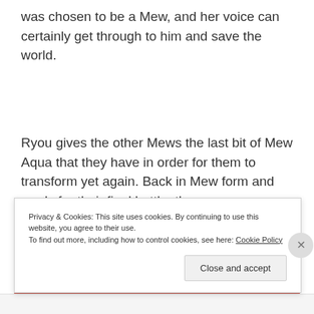was chosen to be a Mew, and her voice can certainly get through to him and save the world.
Ryou gives the other Mews the last bit of Mew Aqua that they have in order for them to transform yet again. Back in Mew form and ready for their final battle, the
Privacy & Cookies: This site uses cookies. By continuing to use this website, you agree to their use.
To find out more, including how to control cookies, see here: Cookie Policy
Close and accept